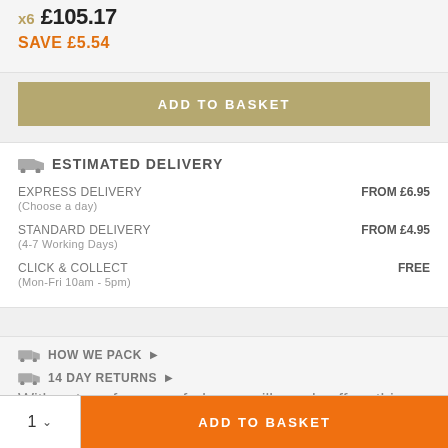x6  £105.17
SAVE £5.54
ADD TO BASKET
ESTIMATED DELIVERY
EXPRESS DELIVERY (Choose a day)  FROM £6.95
STANDARD DELIVERY (4-7 Working Days)  FROM £4.95
CLICK & COLLECT (Mon-Fri 10am - 5pm)  FREE
HOW WE PACK▶
14 DAY RETURNS▶
With notes of creamy fudge, vanilla and coffee, this toffee
1 ∨  ADD TO BASKET